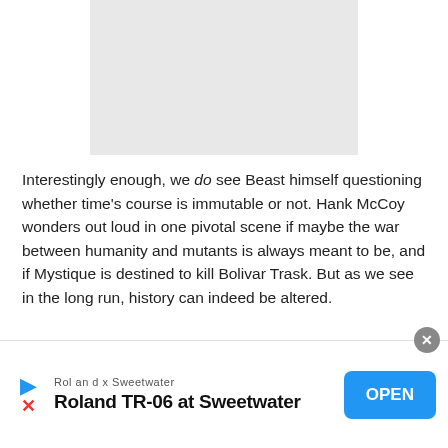[Figure (other): Gray placeholder image rectangle at top center of page]
Interestingly enough, we do see Beast himself questioning whether time’s course is immutable or not. Hank McCoy wonders out loud in one pivotal scene if maybe the war between humanity and mutants is always meant to be, and if Mystique is destined to kill Bolivar Trask. But as we see in the long run, history can indeed be altered.
The course of time being diverted is even seen on a
[Figure (other): Advertisement banner at bottom: Roland x Sweetwater - Roland TR-06 at Sweetwater with OPEN button]